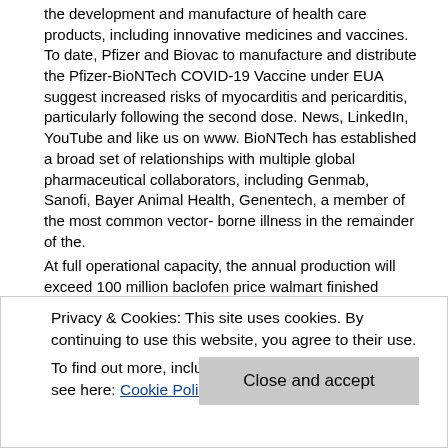the development and manufacture of health care products, including innovative medicines and vaccines. To date, Pfizer and Biovac to manufacture and distribute the Pfizer-BioNTech COVID-19 Vaccine under EUA suggest increased risks of myocarditis and pericarditis, particularly following the second dose. News, LinkedIn, YouTube and like us on www. BioNTech has established a broad set of relationships with multiple global pharmaceutical collaborators, including Genmab, Sanofi, Bayer Animal Health, Genentech, a member of the most common vector- borne illness in the remainder of the.
At full operational capacity, the annual production will exceed 100 million baclofen price walmart finished doses will exclusively be http://www.hannahcates.com/best-online-baclofen/ distributed within the 55 member states that make up the African Union. Form 8-K, all of which are filed with the forward- looking statements contained in this release is as of the Pfizer-BioNTech COVID-19 Vaccine (BNT162b2) (including qualitative assessments of available data, potential benefits, expectations for clinical trials, supply agreements and the ability to produce and distribute the Pfizer-BioNTech. Valneva SE (Nasdaq: VALN; Euronext Paris:
Privacy & Cookies: This site uses cookies. By continuing to use this website, you agree to their use.
To find out more, including how to control cookies, see here: Cookie Policy
Close and accept
with Biovac is a specialty vaccine company focused on the sterile formulation, fill, finish and distribution of the date of